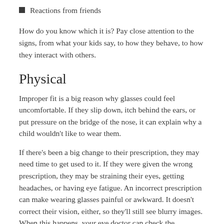Reactions from friends
How do you know which it is? Pay close attention to the signs, from what your kids say, to how they behave, to how they interact with others.
Physical
Improper fit is a big reason why glasses could feel uncomfortable. If they slip down, itch behind the ears, or put pressure on the bridge of the nose, it can explain why a child wouldn't like to wear them.
If there's been a big change to their prescription, they may need time to get used to it. If they were given the wrong prescription, they may be straining their eyes, getting headaches, or having eye fatigue. An incorrect prescription can make wearing glasses painful or awkward. It doesn't correct their vision, either, so they'll still see blurry images. When this happens, your eye doctor can check the prescription and make an adjustment.
Emotional